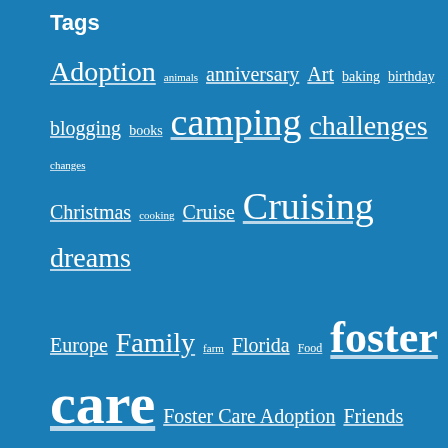Tags
Adoption animals anniversary Art baking birthday blogging books camping challenges changes Christmas cooking Cruise Cruising dreams Europe Family farm Florida Food foster care Foster Care Adoption Friends gardening gifts goals goats Happiness health holiday Holiday Music holidays Holidays holiday traditions Home Purchase homeschool Homeschooling homestead homesteading horseback riding House